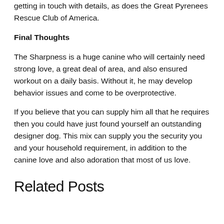getting in touch with details, as does the Great Pyrenees Rescue Club of America.
Final Thoughts
The Sharpness is a huge canine who will certainly need strong love, a great deal of area, and also ensured workout on a daily basis. Without it, he may develop behavior issues and come to be overprotective.
If you believe that you can supply him all that he requires then you could have just found yourself an outstanding designer dog. This mix can supply you the security you and your household requirement, in addition to the canine love and also adoration that most of us love.
Related Posts